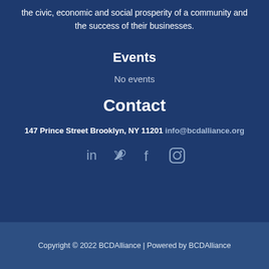the civic, economic and social prosperity of a community and the success of their businesses.
Events
No events
Contact
147 Prince Street Brooklyn, NY 11201 info@bcdalliance.org
[Figure (other): Social media icons: LinkedIn, Twitter, Facebook, Instagram]
Copyright © 2022 BCDAlliance | Powered by BCDAlliance